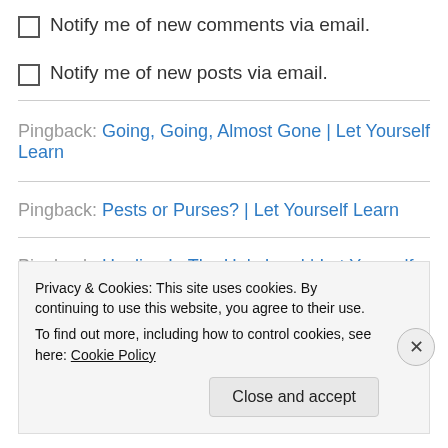Notify me of new comments via email.
Notify me of new posts via email.
Pingback: Going, Going, Almost Gone | Let Yourself Learn
Pingback: Pests or Purses? | Let Yourself Learn
Pingback: Healing In The Holy Land | Let Yourself Learn
Privacy & Cookies: This site uses cookies. By continuing to use this website, you agree to their use. To find out more, including how to control cookies, see here: Cookie Policy
Close and accept